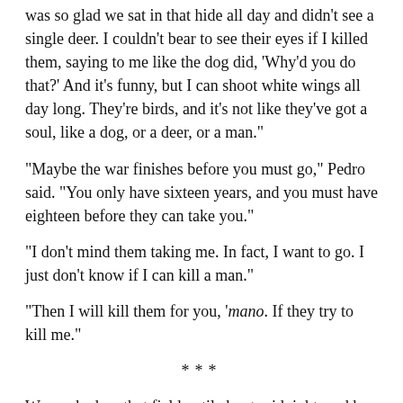was so glad we sat in that hide all day and didn't see a single deer. I couldn't bear to see their eyes if I killed them, saying to me like the dog did, 'Why'd you do that?' And it's funny, but I can shoot white wings all day long. They're birds, and it's not like they've got a soul, like a dog, or a deer, or a man."
"Maybe the war finishes before you must go," Pedro said. "You only have sixteen years, and you must have eighteen before they can take you."
"I don't mind them taking me. In fact, I want to go. I just don't know if I can kill a man."
"Then I will kill them for you, 'mano. If they try to kill me."
***
We worked on that field until about midnight, and by that time the moon was up and so bright the full irrigation ditch looked like a shiny ribbon of molten silver running away